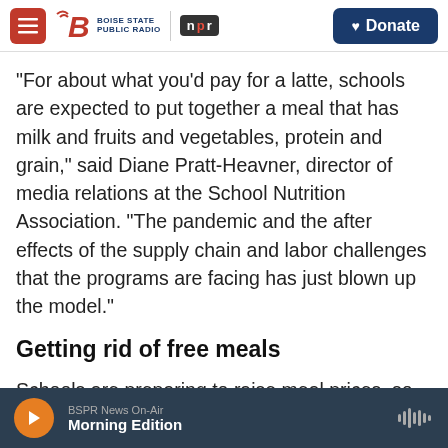Boise State Public Radio | NPR | Donate
"For about what you'd pay for a latte, schools are expected to put together a meal that has milk and fruits and vegetables, protein and grain," said Diane Pratt-Heavner, director of media relations at the School Nutrition Association. "The pandemic and the after effects of the supply chain and labor challenges that the programs are facing has just blown up the model."
Getting rid of free meals
Schools are preparing to raise meal prices, so those students who no longer qualify for free meals will
BSPR News On-Air | Morning Edition